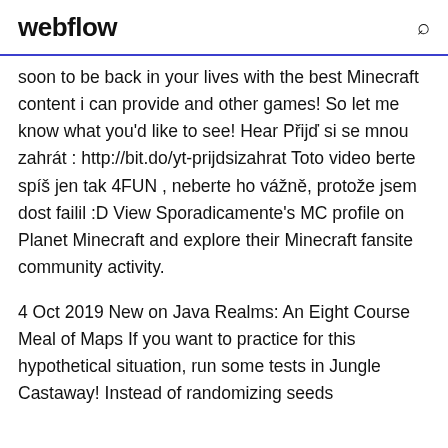webflow
soon to be back in your lives with the best Minecraft content i can provide and other games! So let me know what you'd like to see! Hear Přijď si se mnou zahrát : http://bit.do/yt-prijdsizahrat Toto video berte spíš jen tak 4FUN , neberte ho vážně, protože jsem dost failil :D View Sporadicamente's MC profile on Planet Minecraft and explore their Minecraft fansite community activity.
4 Oct 2019 New on Java Realms: An Eight Course Meal of Maps If you want to practice for this hypothetical situation, run some tests in Jungle Castaway! Instead of randomizing seeds